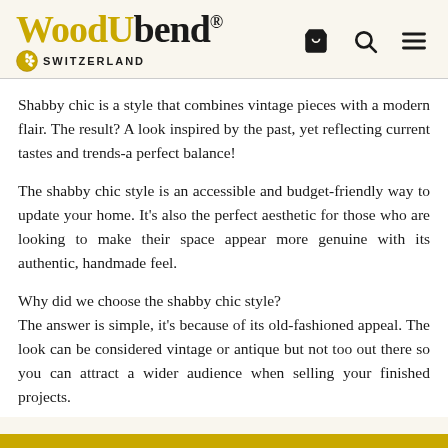WoodUbend. SWITZERLAND
Shabby chic is a style that combines vintage pieces with a modern flair. The result? A look inspired by the past, yet reflecting current tastes and trends-a perfect balance!
The shabby chic style is an accessible and budget-friendly way to update your home. It’s also the perfect aesthetic for those who are looking to make their space appear more genuine with its authentic, handmade feel.
Why did we choose the shabby chic style?
The answer is simple, it’s because of its old-fashioned appeal. The look can be considered vintage or antique but not too out there so you can attract a wider audience when selling your finished projects.